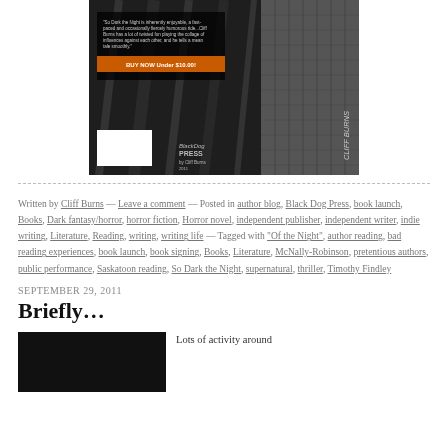[Figure (photo): Book cover image for 'So Dark the Night' by Cliff Burns, published by Black Dog Press. Dark urban/architectural background with a blurb overlay and an orange promotional banner. Barcode visible at lower left of cover.]
Written by Cliff Burns — Leave a comment — Posted in author blog, Black Dog Press, book launch, Books, Dark fantasy/horror, horror fiction, Horror novel, independent publisher, independent writer, indie writing, Literature, Reading, writing, writing life — Tagged with "Of the Night", author reading, bad reading experiences, book launch, book signing, Books, Literature, McNally-Robinson, pretentious authors, public performance, Saskatoon reading, So Dark the Night, supernatural, thriller, Timothy Findley
SEPTEMBER 29, 2011
Briefly…
[Figure (photo): Dark/black image, likely a book or event photo]
Lots of activity around